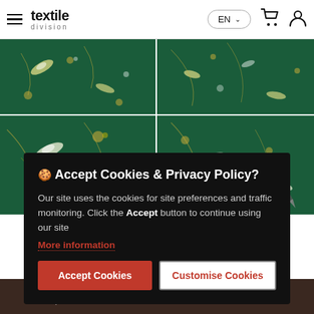textile division — EN (language selector) — cart icon — user icon
[Figure (photo): Four fabric/textile product images showing dark green fabric with floral/botanical patterns (birds, flowers, leaves in gold/white on teal-green background). Top row: two close-up garment photos. Bottom row: two fabric swatch close-ups.]
🍪 Accept Cookies & Privacy Policy?
Our site uses the cookies for site preferences and traffic monitoring. Click the Accept button to continue using our site
More information
Accept Cookies   Customise Cookies
📍 YOU CAN FIND US HERE